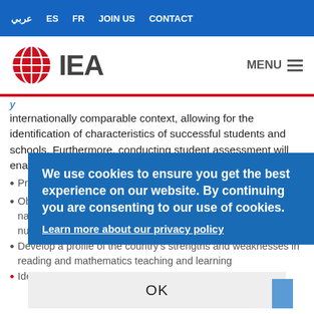عربي  ES  FR  JOIN US  CONTACT
[Figure (logo): IEA logo — red globe icon with IEA text]
internationally comparable context, allowing for the identification of characteristics of successful students and schools. Furthermore, conducting student assessment will enable countries to:
Provide the assessment results alongside data in both a … (partially obscured by cookie overlay)
Obtain an indication of the number of students reaching national and international benchmarks in basic literacy and numeracy
Develop a profile of the country's strengths and weaknesses in reading and mathematics teaching and learning
Identify the characteristics of successful students and …
We use cookies to ensure you get the best experience on our website. By continuing you are consenting to our use of cookies.
Learn more about our privacy policy
OK